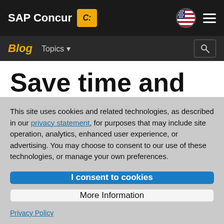SAP Concur | Blog | Topics
Save time and money on processing
This site uses cookies and related technologies, as described in our privacy statement, for purposes that may include site operation, analytics, enhanced user experience, or advertising. You may choose to consent to our use of these technologies, or manage your own preferences.
I consent to cookies
More Information
Privacy Policy